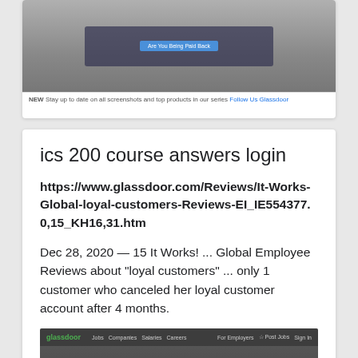[Figure (screenshot): Screenshot of a webpage (top portion cut off), showing a dark interface with a blue button, and a caption bar at the bottom with text referencing Glassdoor.]
ics 200 course answers login
https://www.glassdoor.com/Reviews/It-Works-Global-loyal-customers-Reviews-EI_IE554377.0,15_KH16,31.htm
Dec 28, 2020 — 15 It Works! ... Global Employee Reviews about "loyal customers" ... only 1 customer who canceled her loyal customer account after 4 months.
[Figure (screenshot): Screenshot of the Glassdoor website homepage showing the logo, navigation bar, hero section with text 'You deserve a job that loves you back', and sign-in buttons for Facebook, Google, and email.]